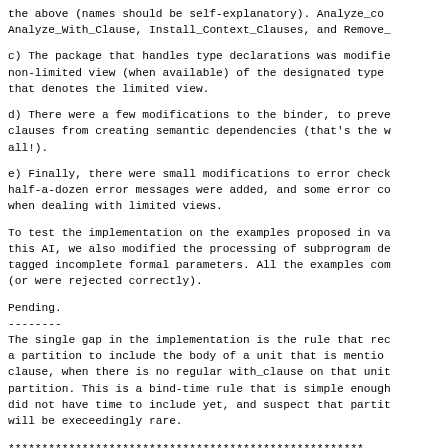the above (names should be self-explanatory). Analyze_Context_Clauses, Analyze_With_Clause, Install_Context_Clauses, and Remove_...
c) The package that handles type declarations was modified to return the non-limited view (when available) of the designated type, rather than the entity that denotes the limited view.
d) There were a few modifications to the binder, to prevent context clauses from creating semantic dependencies (that's the whole point, after all!).
e) Finally, there were small modifications to error checking routines: half-a-dozen error messages were added, and some error conditions tweaked when dealing with limited views.
To test the implementation on the examples proposed in various AIs of this AI, we also modified the processing of subprogram declarations with tagged incomplete formal parameters. All the examples compiled correctly (or were rejected correctly).
Pending.
--------
The single gap in the implementation is the rule that requires a partition to include the body of a unit that is mentioned in a limited clause, when there is no regular with_clause on that unit in the partition. This is a bind-time rule that is simple enough but we did not have time to include yet, and suspect that partition cases will be execeedingly rare.
********************************************************...